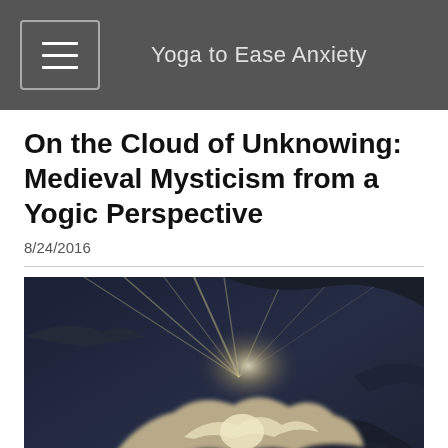Yoga to Ease Anxiety
On the Cloud of Unknowing: Medieval Mysticism from a Yogic Perspective
8/24/2016
[Figure (photo): Dark dramatic cloud photograph with sunlight rays breaking through behind storm clouds, dark blue-grey sky background with bright white cloud edges]